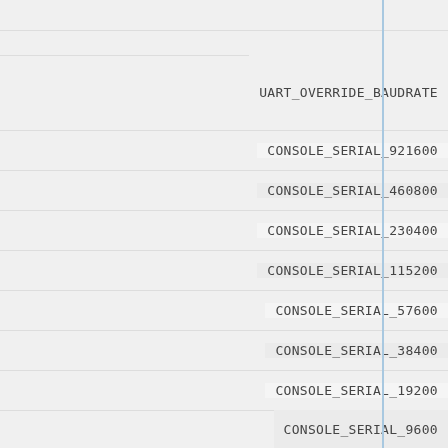UART_OVERRIDE_BAUDRATE
CONSOLE_SERIAL_921600
CONSOLE_SERIAL_460800
CONSOLE_SERIAL_230400
CONSOLE_SERIAL_115200
CONSOLE_SERIAL_57600
CONSOLE_SERIAL_38400
CONSOLE_SERIAL_19200
CONSOLE_SERIAL_9600
TTYS0_BAUD
SPKMODEM